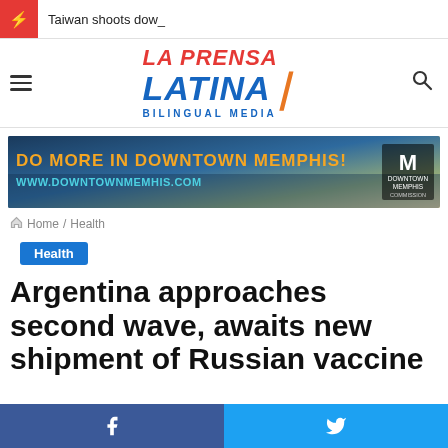Taiwan shoots dow_
[Figure (logo): La Prensa Latina Bilingual Media logo with hamburger menu and search icon]
[Figure (photo): Advertisement banner: DO MORE IN DOWNTOWN MEMPHIS! WWW.DOWNTOWNMEMHIS.COM — Downtown Memphis Commission]
Home / Health
Health
Argentina approaches second wave, awaits new shipment of Russian vaccine